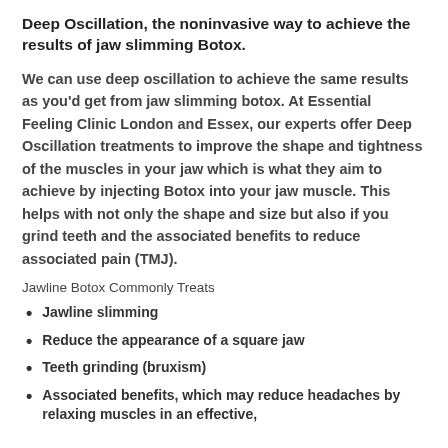Deep Oscillation, the noninvasive way to achieve the results of jaw slimming Botox.
We can use deep oscillation to achieve the same results as you'd get from jaw slimming botox. At Essential Feeling Clinic London and Essex, our experts offer Deep Oscillation treatments to improve the shape and tightness of the muscles in your jaw which is what they aim to achieve by injecting Botox into your jaw muscle. This helps with not only the shape and size but also if you grind teeth and the associated benefits to reduce associated pain (TMJ).
Jawline Botox Commonly Treats
Jawline slimming
Reduce the appearance of a square jaw
Teeth grinding (bruxism)
Associated benefits, which may reduce headaches by relaxing muscles in an effective,